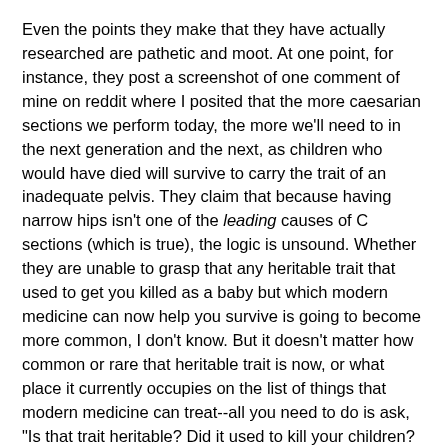Even the points they make that they have actually researched are pathetic and moot. At one point, for instance, they post a screenshot of one comment of mine on reddit where I posited that the more caesarian sections we perform today, the more we'll need to in the next generation and the next, as children who would have died will survive to carry the trait of an inadequate pelvis. They claim that because having narrow hips isn't one of the leading causes of C sections (which is true), the logic is unsound. Whether they are unable to grasp that any heritable trait that used to get you killed as a baby but which modern medicine can now help you survive is going to become more common, I don't know. But it doesn't matter how common or rare that heritable trait is now, or what place it currently occupies on the list of things that modern medicine can treat--all you need to do is ask, "Is that trait heritable? Did it used to kill your children? Can modern medicine now make it so your children survive to pass on the heritable trait?" This is not that complicated, people.
Their "understanding" of my politics (soft-core libertarian)